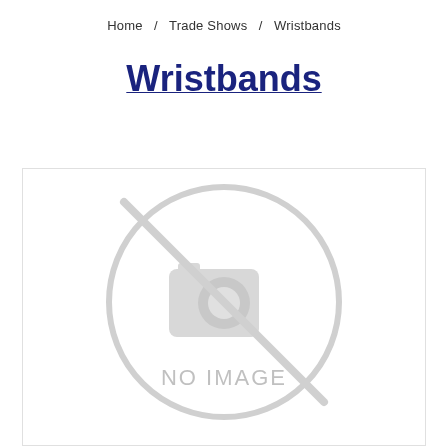Home / Trade Shows / Wristbands
Wristbands
[Figure (other): No image placeholder — a light grey circle with a diagonal line through a camera icon and the text 'NO IMAGE' centered below the icon]